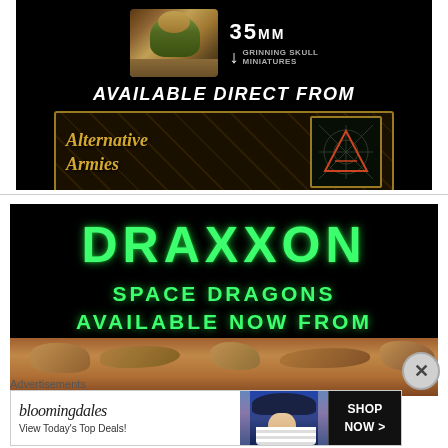[Figure (illustration): Advertisement for Grinning Skull Miniatures 35mm figure available direct from Alternative Armies. Shows a painted miniature figure with black background, '35MM' label with arrow pointing to Grinning Skull Miniatures logo, white italic text 'AVAILABLE DIRECT FROM', and Alternative Armies logo in gold/brown.]
[Figure (illustration): Advertisement for Draxxon Space Dragons. Black background with large neon green text 'DRAXXON' and subtitle 'SPACE DRAGONS AVAILABLE NOW FROM', with rocky landscape image at the bottom.]
Advertisements
[Figure (illustration): Bloomingdales advertisement with logo, 'View Today's Top Deals!' text, woman in hat photo, and 'SHOP NOW >' button.]